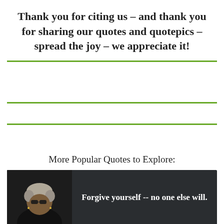Thank you for citing us – and thank you for sharing our quotes and quotepics – spread the joy – we appreciate it!
More Popular Quotes to Explore:
[Figure (illustration): Dark-background quote card with a photo of an elderly woman on the left and bold white text on the right reading: Forgive yourself -- no one else will.]